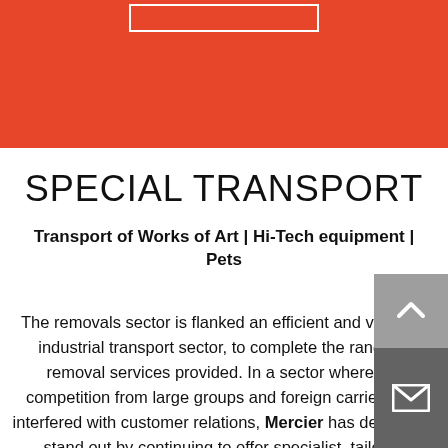[Figure (other): Red header banner with white outlined rectangle at top]
SPECIAL TRANSPORT
Transport of Works of Art | Hi-Tech equipment | Pets
The removals sector is flanked an efficient and versatile industrial transport sector, to complete the range of removal services provided. In a sector where the competition from large groups and foreign carriers has interfered with customer relations, Mercier has decided to stand out by continuing to offer specialist, tailored services, focusing on the client's needs. No matter the form of